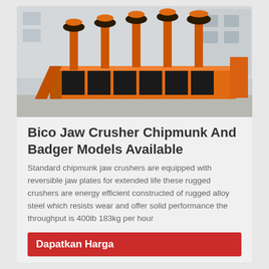[Figure (photo): Orange industrial jaw crusher machine with multiple vertical spindles/rotors, photographed outdoors near a building. The machine is large, metallic orange, with several cylindrical components on top.]
Bico Jaw Crusher Chipmunk And Badger Models Available
Standard chipmunk jaw crushers are equipped with reversible jaw plates for extended life these rugged crushers are energy efficient constructed of rugged alloy steel which resists wear and offer solid performance the throughput is 400lb 183kg per hour
Dapatkan Harga